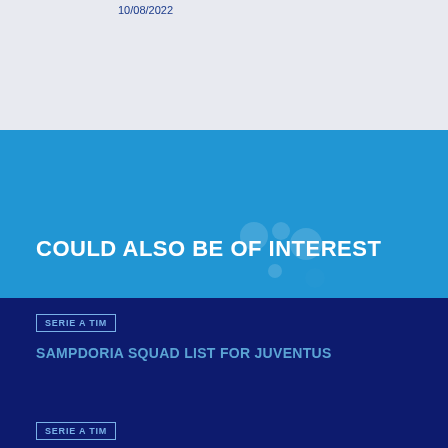10/08/2022
COULD ALSO BE OF INTEREST
SERIE A TIM
SAMPDORIA SQUAD LIST FOR JUVENTUS
SERIE A TIM
CREMONESE: SQAUD LIST FOR THE MATCH AGAINST ROMA